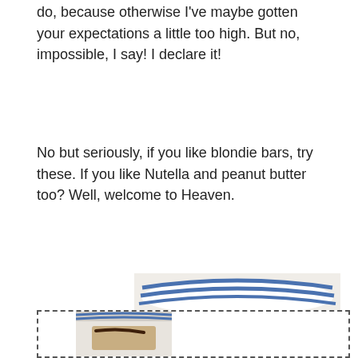do, because otherwise I've maybe gotten your expectations a little too high. But no, impossible, I say! I declare it!
No but seriously, if you like blondie bars, try these. If you like Nutella and peanut butter too? Well, welcome to Heaven.
[Figure (photo): Stack of two blondie bars with Nutella swirl on top, sitting on a blue and white striped plate on a white surface.]
[Figure (photo): Partial view of blondie bars on a plate, shown in a dashed-border box at the bottom of the page.]